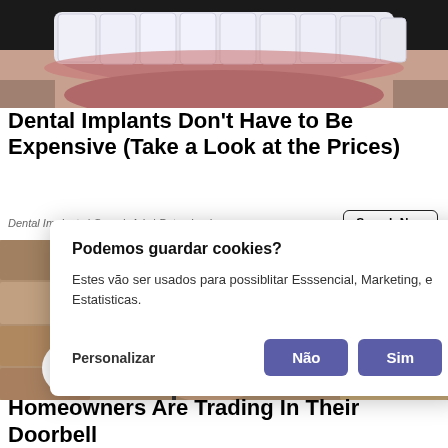[Figure (photo): Close-up photo of a person's mouth showing white dental implants/teeth and lips]
Dental Implants Don't Have to Be Expensive (Take a Look at the Prices)
Dental Implants | Search Ads | Patrocinado
Search Now
Podemos guardar cookies?
Estes vão ser usados para possiblitar Esssencial, Marketing, e Estatisticas.
Personalizar
Não
Sim
[Figure (photo): Photo of a doorbell camera mounted on a textured stone/stucco wall, with a lock icon circle and Topo navigation button]
Homeowners Are Trading In Their Doorbell